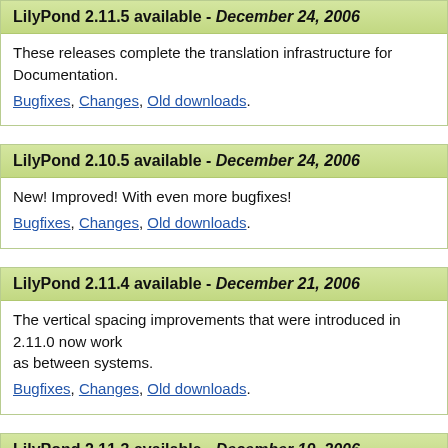LilyPond 2.11.5 available - December 24, 2006
These releases complete the translation infrastructure for Documentation. Bugfixes, Changes, Old downloads.
LilyPond 2.10.5 available - December 24, 2006
New! Improved! With even more bugfixes! Bugfixes, Changes, Old downloads.
LilyPond 2.11.4 available - December 21, 2006
The vertical spacing improvements that were introduced in 2.11.0 now work as between systems. Bugfixes, Changes, Old downloads.
LilyPond 2.11.3 available - December 19, 2006
This release has graphical test results and several website build improvements. Bugfixes, Changes, Old downloads.